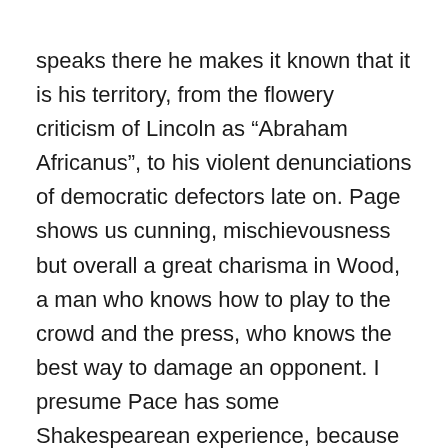speaks there he makes it known that it is his territory, from the flowery criticism of Lincoln as “Abraham Africanus”, to his violent denunciations of democratic defectors late on. Page shows us cunning, mischievousness but overall a great charisma in Wood, a man who knows how to play to the crowd and the press, who knows the best way to damage an opponent. I presume Pace has some Shakespearean experience, because this role has all the hallmarks of one of the Bard’s better villains, with the pomp, the dagger-like look in the eyes, and the persuasive performance that comes with it.
James Spader, Tim Blake Nelson and John Hawkes are the three Republican operatives covertly hired by Seward to get various Democrats onside. Their purpose is mostly comedic, and Spader, with his filthy clothes, unusual